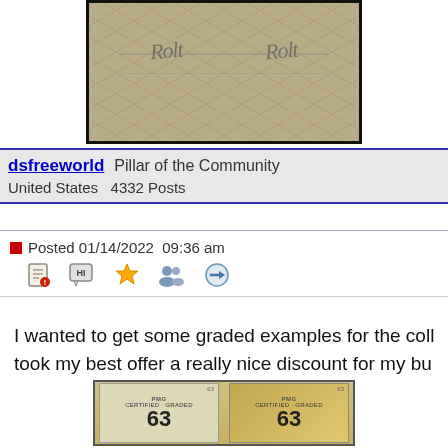[Figure (photo): Top portion of a graded currency note image, cropped at top]
dsfreeworld   Pillar of the Community
United States   4332 Posts
Posted 01/14/2022  09:36 am
I wanted to get some graded examples for the coll took my best offer a really nice discount for my bu
[Figure (photo): Graded currency notes with PMG grade 63 labels visible]